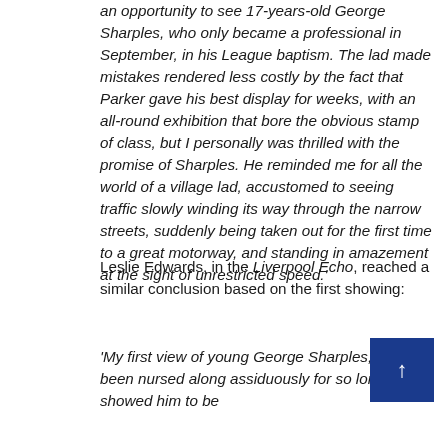an opportunity to see 17-years-old George Sharples, who only became a professional in September, in his League baptism. The lad made mistakes rendered less costly by the fact that Parker gave his best display for weeks, with an all-round exhibition that bore the obvious stamp of class, but I personally was thrilled with the promise of Sharples. He reminded me for all the world of a village lad, accustomed to seeing traffic slowly winding its way through the narrow streets, suddenly being taken out for the first time to a great motorway, and standing in amazement at the sight of unrestricted speed.'
Leslie Edwards, in the Liverpool Echo, reached a similar conclusion based on the first showing:
'My first view of young George Sharples, who has been nursed along assiduously for so long, showed him to be